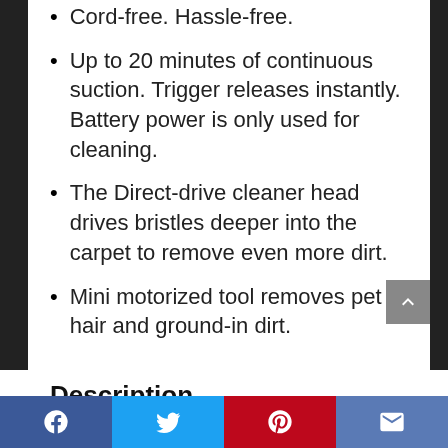Cord-free. Hassle-free.
Up to 20 minutes of continuous suction. Trigger releases instantly. Battery power is only used for cleaning.
The Direct-drive cleaner head drives bristles deeper into the carpet to remove even more dirt.
Mini motorized tool removes pet hair and ground-in dirt.
Description
Style Name: Animal